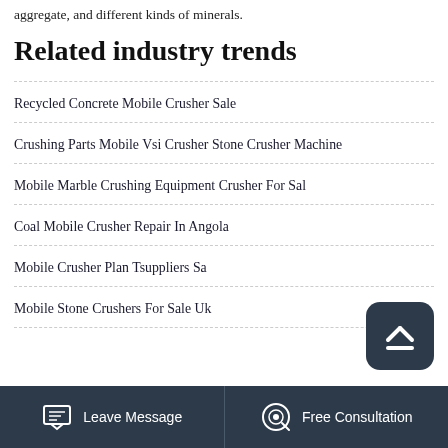aggregate, and different kinds of minerals.
Related industry trends
Recycled Concrete Mobile Crusher Sale
Crushing Parts Mobile Vsi Crusher Stone Crusher Machine
Mobile Marble Crushing Equipment Crusher For Sale
Coal Mobile Crusher Repair In Angola
Mobile Crusher Plan Tsuppliers Sa
Mobile Stone Crushers For Sale Uk
Leave Message   Free Consultation